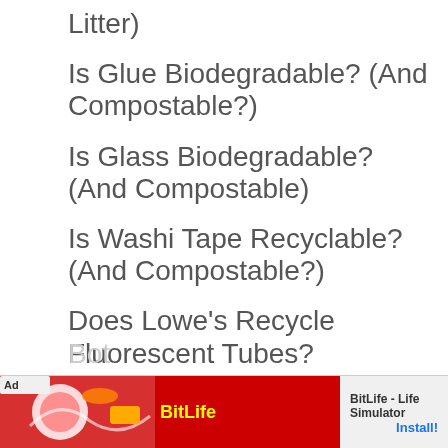Litter)
Is Glue Biodegradable? (And Compostable?)
Is Glass Biodegradable? (And Compostable)
Is Washi Tape Recyclable? (And Compostable?)
Does Lowe’s Recycle Fluorescent Tubes?
Does Target Recycle Plastic Bags?
Does Walmart Recycle Plastic Bags And
Ad | BitLife - Life Simulator | Install!